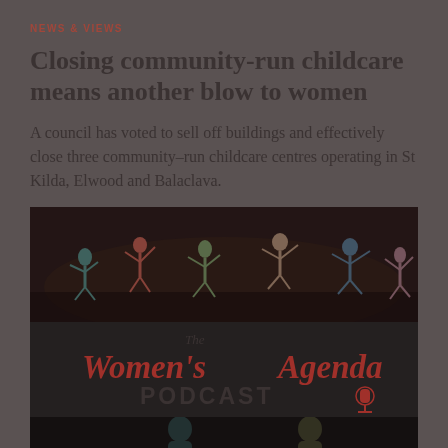NEWS & VIEWS
Closing community-run childcare means another blow to women
A council has voted to sell off buildings and effectively close three community-run childcare centres operating in St Kilda, Elwood and Balaclava.
[Figure (photo): Dark photo showing silhouettes of dancers on a stage with colourful lighting]
[Figure (logo): The Women's Agenda PODCAST logo banner on dark background]
[Figure (photo): Partial dark photo visible at bottom of page, showing two people]